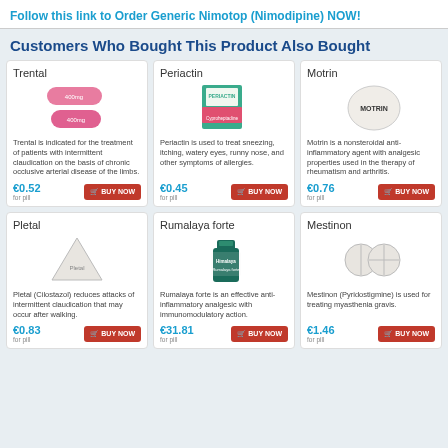Follow this link to Order Generic Nimotop (Nimodipine) NOW!
Customers Who Bought This Product Also Bought
[Figure (illustration): Two pink oval Trental pills]
Trental
Trental is indicated for the treatment of patients with intermittent claudication on the basis of chronic occlusive arterial disease of the limbs.
€0.52 for pill
[Figure (illustration): Periactin medicine box (green/pink)]
Periactin
Periactin is used to treat sneezing, itching, watery eyes, runny nose, and other symptoms of allergies.
€0.45 for pill
[Figure (illustration): Round white Motrin tablet with MOTRIN embossed]
Motrin
Motrin is a nonsteroidal anti-inflammatory agent with analgesic properties used in the therapy of rheumatism and arthritis.
€0.76 for pill
[Figure (illustration): White triangular Pletal tablet]
Pletal
Pletal (Cilostazol) reduces attacks of intermittent claudication that may occur after walking.
€0.83 for pill
[Figure (illustration): Rumalaya forte dark green bottle]
Rumalaya forte
Rumalaya forte is an effective anti-inflammatory analgesic with immunomodulatory action.
€31.81 for pill
[Figure (illustration): Two round white Mestinon tablets]
Mestinon
Mestinon (Pyridostigmine) is used for treating myasthenia gravis.
€1.46 for pill